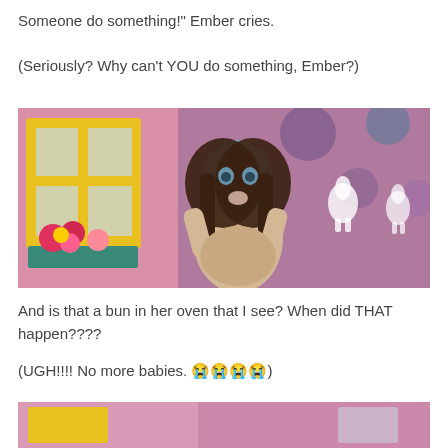Someone do something!" Ember cries.
(Seriously? Why can't YOU do something, Ember?)
[Figure (screenshot): Screenshot from a video game (The Sims) showing a blue-skinned female character with long dark hair, wearing a light-colored outfit, standing in a colorful room with a yellow window frame with flowers and purple polka-dot walls with white rabbit silhouettes.]
And is that a bun in her oven that I see? When did THAT happen????
(UGH!!!! No more babies. 😭😭😭😭)
[Figure (screenshot): Partial screenshot of another Sims scene, cropped at the bottom of the page.]